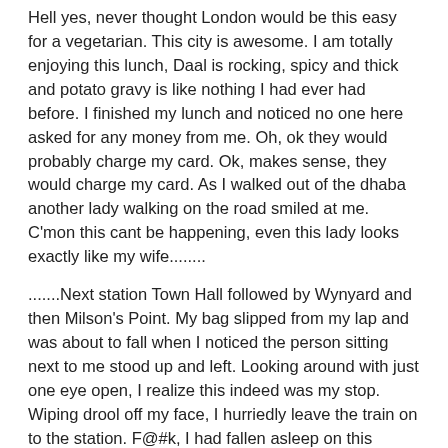Hell yes, never thought London would be this easy for a vegetarian. This city is awesome. I am totally enjoying this lunch, Daal is rocking, spicy and thick and potato gravy is like nothing I had ever had before. I finished my lunch and noticed no one here asked for any money from me. Oh, ok they would probably charge my card. Ok, makes sense, they would charge my card. As I walked out of the dhaba another lady walking on the road smiled at me. C'mon this cant be happening, even this lady looks exactly like my wife.........
.......Next station Town Hall followed by Wynyard and then Milson's Point. My bag slipped from my lap and was about to fall when I noticed the person sitting next to me stood up and left. Looking around with just one eye open, I realize this indeed was my stop. Wiping drool off my face, I hurriedly leave the train on to the station. F@#k, I had fallen asleep on this goddam train. This is not New York (which suddenly changed to London), this is Sydney. I am not a tourist, I go to work everyday.  Oh, this is probably the lost sleep at night working overtime here on train. I had a breakfast of cereals and not Aalu parathas. I am hungry.